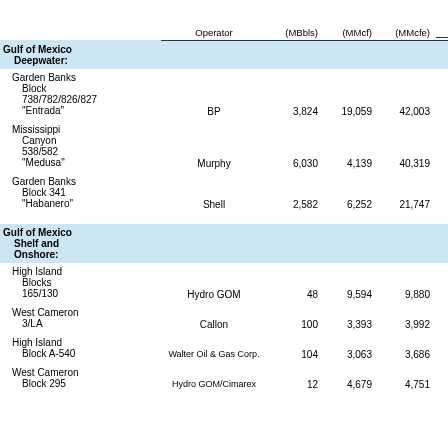|  | Operator | (MBbls) | (MMcf) | (MMcfe) | Value ($000) (a)(b)(c) |
| --- | --- | --- | --- | --- | --- |
| Gulf of Mexico Deepwater: |  |  |  |  |  |
| Garden Banks Block 738/782/826/827 "Entrada" | BP | 3,824 | 19,059 | 42,003 | $134,977 |
| Mississippi Canyon 538/582 "Medusa" | Murphy | 6,030 | 4,139 | 40,319 | 156,542 |
| Garden Banks Block 341 "Habanero" | Shell | 2,582 | 6,252 | 21,747 | 121,909 |
| Gulf of Mexico Shelf and Onshore: |  |  |  |  |  |
| High Island Blocks 165/130 | Hydro GOM | 48 | 9,594 | 9,880 | 37,687 |
| West Cameron 3/LA | Callon | 100 | 3,393 | 3,992 | 17,919 |
| High Island Block A-540 | Walter Oil & Gas Corp. | 104 | 3,063 | 3,686 | 16,514 |
| West Cameron Block 295 | Hydro GOM/Cimarex | 12 | 4,679 | 4,751 | 15,990 |